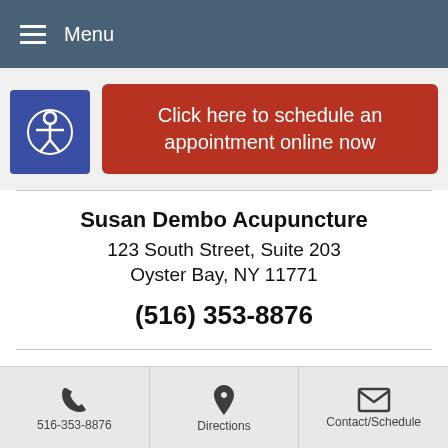Menu
Click here to schedule an appointment online now
Susan Dembo Acupuncture
123 South Street, Suite 203
Oyster Bay, NY 11771
(516) 353-8876
Clinic Hours
516-353-8876 | Directions | Contact/Schedule